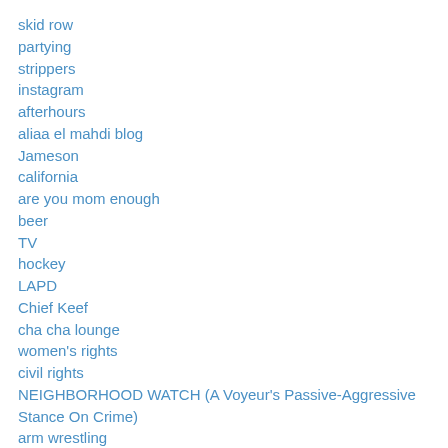skid row
partying
strippers
instagram
afterhours
aliaa el mahdi blog
Jameson
california
are you mom enough
beer
TV
hockey
LAPD
Chief Keef
cha cha lounge
women's rights
civil rights
NEIGHBORHOOD WATCH (A Voyeur's Passive-Aggressive Stance On Crime)
arm wrestling